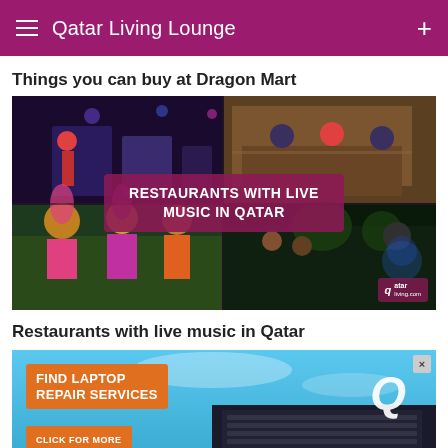Qatar Living Lounge
Things you can buy at Dragon Mart
[Figure (photo): Collage of four restaurant scenes with live music in Qatar. Two upper panels show musicians performing and a formal dining scene. Two lower panels show colorfully dressed performers and an outdoor restaurant setting. Center overlay text reads RESTAURANTS WITH LIVE MUSIC IN QATAR. Qatar Living logo watermark in bottom right.]
Restaurants with live music in Qatar
[Figure (photo): Advertisement on blue sky background for laptop repair services. Orange banner reads FIND LAPTOP REPAIR SERVICES with CLICK FOR MORE button. Qatar Living Q logo on right. X close button in top right corner.]